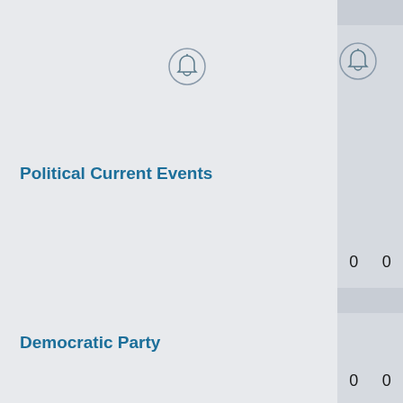[Figure (illustration): Bell/pendant icon inside a circle, gray outline style, positioned above Political Current Events section]
Political Current Events
|  | 0 | 0 |
| --- | --- | --- |
[Figure (illustration): Bell/pendant icon inside a circle, gray outline style, positioned above Democratic Party section]
Democratic Party
|  | 0 | 0 |
| --- | --- | --- |